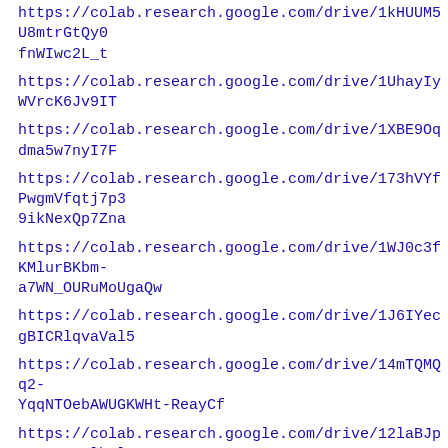https://colab.research.google.com/drive/1kHUUM5U8mtrGtQyOfnWIwc2L_t
https://colab.research.google.com/drive/1UhayIyWVrcK6Jv9IT
https://colab.research.google.com/drive/1XBE9Oqdma5w7nyI7F
https://colab.research.google.com/drive/173hVYfPwgmVfqtj7p39ikNexQp7Zna
https://colab.research.google.com/drive/1WJ0c3fKMlurBKbm-a7WN_OURuMoUgaQw
https://colab.research.google.com/drive/1J6IYecgBICRlqvaVal5
https://colab.research.google.com/drive/14mTQMQq2-YqqNTOebAWUGKWHt-ReayCf
https://colab.research.google.com/drive/12laBJp2NpNIYM2lbOl
https://colab.research.google.com/drive/1qz-F9GhSI3zAH6h-GoWUel72SivLA6Eo
https://colab.research.google.com/drive/13eQcVDSlkn4cN1E7w
https://colab.research.google.com/drive/1qjc8huSP9oEKJX2Kbl
https://colab.research.google.com/drive/1vKwzsVn6GluHbU6eb
https://colab.research.google.com/drive/1SYUj_-